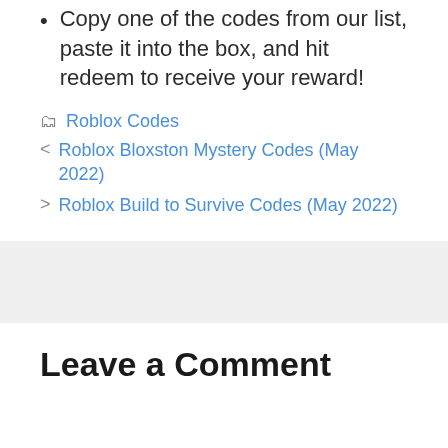Copy one of the codes from our list, paste it into the box, and hit redeem to receive your reward!
Roblox Codes
< Roblox Bloxston Mystery Codes (May 2022)
> Roblox Build to Survive Codes (May 2022)
Leave a Comment